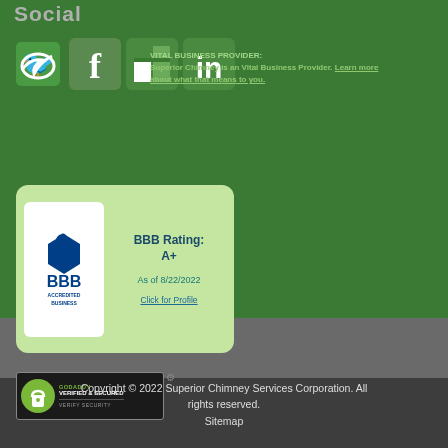Social
VITAL BUSINESS PROVIDER: Superior Chimney is an Vital Business Provider. Learn more about what that means to you.
[Figure (logo): Social media icons: Twitter, Facebook, Houzz, LinkedIn]
[Figure (infographic): BBB Accredited Business badge showing BBB Rating: A+ As of 8/22/2022. Click for Profile.]
[Figure (logo): GoDaddy Verified & Secured badge with lock icon. VERIFY SECURITY text.]
Copyright © 2022 Superior Chimney Services Corporation. All rights reserved. Sitemap